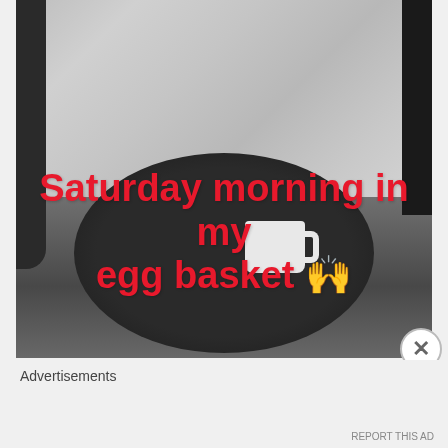[Figure (photo): Black and white photo of a person in a fluffy robe sitting in a wicker egg/basket chair with a round dark coffee table in front holding a white mug. Red bold text overlay reads: Saturday morning in my egg basket with raised hands emoji.]
Advertisements
REPORT THIS AD